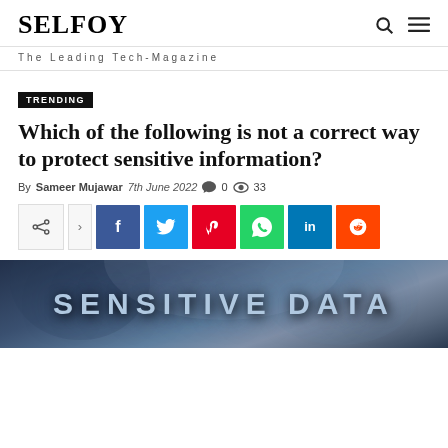SELFOY — The Leading Tech-Magazine
TRENDING
Which of the following is not a correct way to protect sensitive information?
By Sameer Mujawar   7th June 2022   0   33
[Figure (other): Social share buttons row: share icon, arrow, Facebook, Twitter, Pinterest, WhatsApp, LinkedIn, Reddit]
[Figure (photo): Image with text 'SENSITIVE DATA' in large bold letters over a blurred background of a person in a suit]